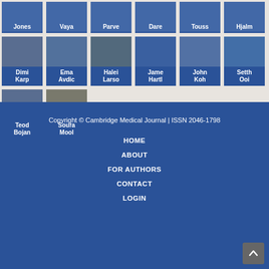[Figure (other): Grid of author profile photo cards with names, partially cropped. Row 1 (top-cut): Jones, Vaya, Parve, Dare, Touss, Hjalm. Row 2: Dimi Karp, Ema Avdic, Halei Larso, Jame Hartl, John Koh, Setth Ooi. Row 3: Teod Bojan, Soura Mool.]
Copyright © Cambridge Medical Journal | ISSN 2046-1798
HOME
ABOUT
FOR AUTHORS
CONTACT
LOGIN